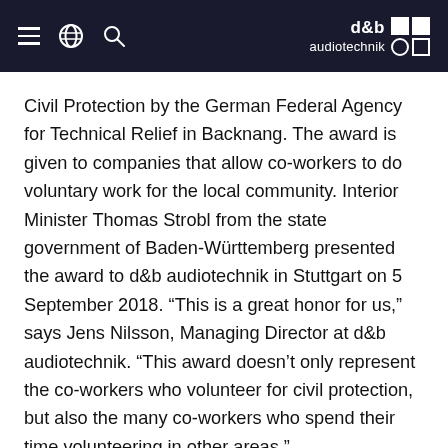d&b audiotechnik
Civil Protection by the German Federal Agency for Technical Relief in Backnang. The award is given to companies that allow co-workers to do voluntary work for the local community. Interior Minister Thomas Strobl from the state government of Baden-Württemberg presented the award to d&b audiotechnik in Stuttgart on 5 September 2018. “This is a great honor for us,” says Jens Nilsson, Managing Director at d&b audiotechnik. “This award doesn’t only represent the co-workers who volunteer for civil protection, but also the many co-workers who spend their time volunteering in other areas.”
Any d&b co-worker who is active with a relief organization,